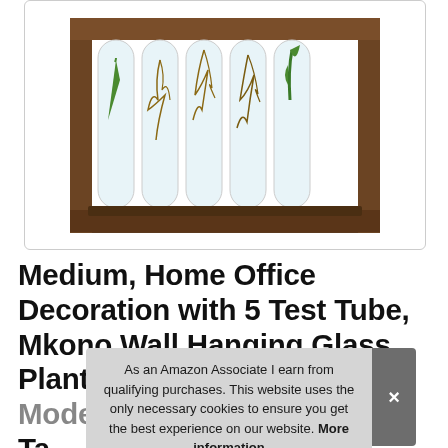[Figure (photo): A wooden rectangular frame holding 5 glass test tubes/vials containing plants with visible roots and green stems, arranged side by side. The frame is dark brown wood.]
Medium, Home Office Decoration with 5 Test Tube, Mkono Wall Hanging Glass Planter Plant Terrarium Modern Flower Bu... Ta... Hy...
As an Amazon Associate I earn from qualifying purchases. This website uses the only necessary cookies to ensure you get the best experience on our website. More information